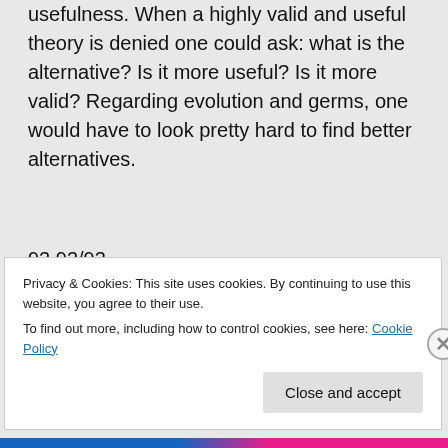usefulness. When a highly valid and useful theory is denied one could ask: what is the alternative? Is it more useful? Is it more valid? Regarding evolution and germs, one would have to look pretty hard to find better alternatives.
93 93/93
★ Like
Privacy & Cookies: This site uses cookies. By continuing to use this website, you agree to their use.
To find out more, including how to control cookies, see here: Cookie Policy
Close and accept